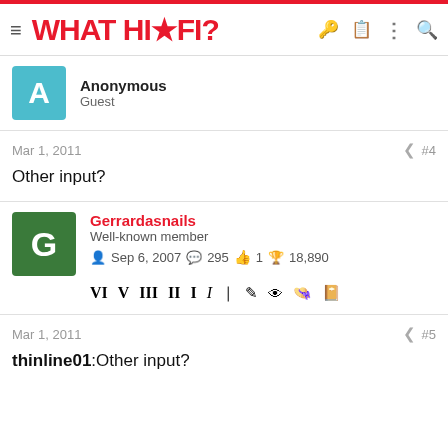WHAT HI-FI?
Anonymous
Guest
Mar 1, 2011  #4
Other input?
Gerrardasnails
Well-known member
Sep 6, 2007  295  1  18,890
Mar 1, 2011  #5
thinline01:Other input?